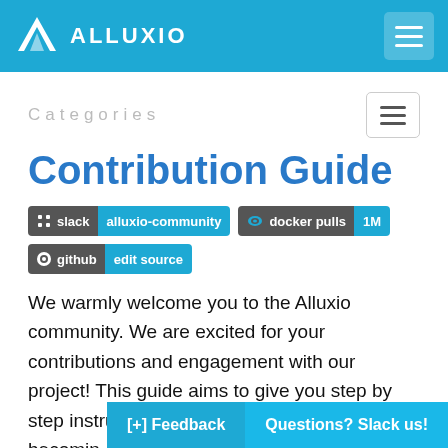ALLUXIO
Categories
Contribution Guide
[Figure (screenshot): Badge row showing: slack alluxio-community badge, docker pulls 1M badge, github edit source badge]
We warmly welcome you to the Alluxio community. We are excited for your contributions and engagement with our project! This guide aims to give you step by step instructions on how to get started becoming a contributor to Alluxio's open source project.